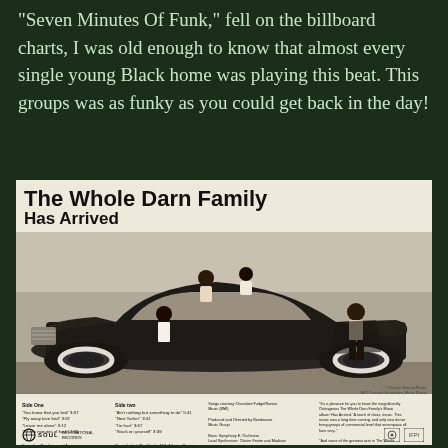"Seven Minutes Of Funk," fell on the billboard charts, I was old enough to know that almost every single young Black home was playing this beat. This groups was as funky as you could get back in the day!
[Figure (photo): Black and white album back cover for 'The Whole Darn Family Has Arrived' on Soul International Records. Shows a large vintage Cadillac automobile with multiple people posing on and around it. Below the photo are tracklists for Side One and Side Two, credits, and liner notes. Soul International Records logo at bottom left.]